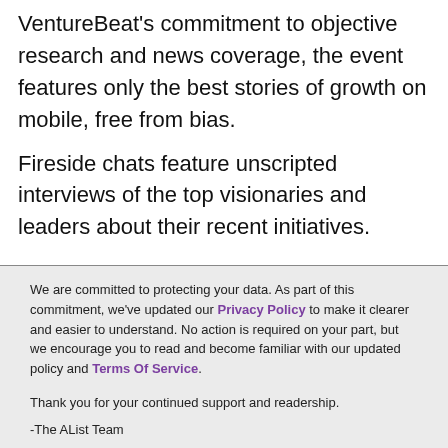VentureBeat's commitment to objective research and news coverage, the event features only the best stories of growth on mobile, free from bias.
Fireside chats feature unscripted interviews of the top visionaries and leaders about their recent initiatives.
We are committed to protecting your data. As part of this commitment, we've updated our Privacy Policy to make it clearer and easier to understand. No action is required on your part, but we encourage you to read and become familiar with our updated policy and Terms Of Service.
Thank you for your continued support and readership.
-The AList Team